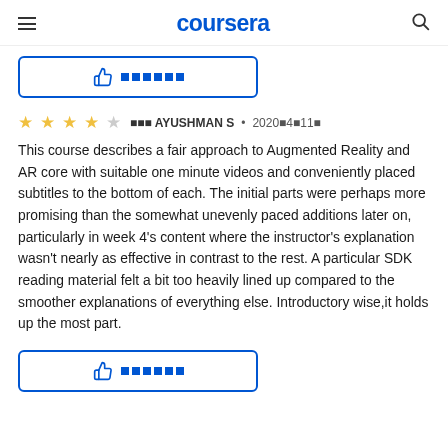coursera
[Figure (other): Helpful button with thumbs up icon and placeholder text squares, outlined in blue]
⭐⭐⭐⭐☆ 쮿쮿쮿 AYUSHMAN S • 2020쮿4쮿11쮿
This course describes a fair approach to Augmented Reality and AR core with suitable one minute videos and conveniently placed subtitles to the bottom of each. The initial parts were perhaps more promising than the somewhat unevenly paced additions later on, particularly in week 4's content where the instructor's explanation wasn't nearly as effective in contrast to the rest. A particular SDK reading material felt a bit too heavily lined up compared to the smoother explanations of everything else. Introductory wise,it holds up the most part.
[Figure (other): Helpful button with thumbs up icon and placeholder text squares, outlined in blue]